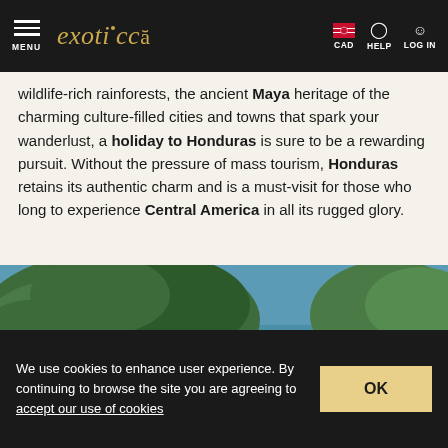exoticca — MENU | CAD | HELP | LOG IN
wildlife-rich rainforests, the ancient Maya heritage of the charming culture-filled cities and towns that spark your wanderlust, a holiday to Honduras is sure to be a rewarding pursuit. Without the pressure of mass tourism, Honduras retains its authentic charm and is a must-visit for those who long to experience Central America in all its rugged glory.
[Figure (photo): Aerial view of a coastal village in Honduras with lush green trees, sandy shores, wooden docks, and calm blue water.]
We use cookies to enhance user experience. By continuing to browse the site you are agreeing to accept our use of cookies